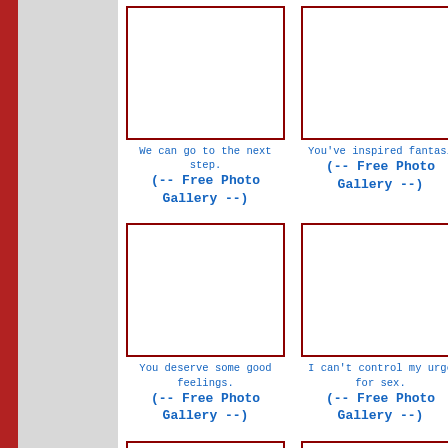[Figure (other): Empty white rectangle with dark red border - photo placeholder top left]
We can go to the next step.
(-- Free Photo Gallery --)
[Figure (other): Empty white rectangle with dark red border - photo placeholder top right]
You've inspired fantasi
(-- Free Photo Gallery --)
[Figure (other): Empty white rectangle with dark red border - photo placeholder middle left]
You deserve some good feelings.
(-- Free Photo Gallery --)
[Figure (other): Empty white rectangle with dark red border - photo placeholder middle right]
I can't control my urge for sex.
(-- Free Photo Gallery --)
[Figure (other): Empty white rectangle with dark red border - photo placeholder bottom left]
[Figure (other): Empty white rectangle with dark red border - photo placeholder bottom right]